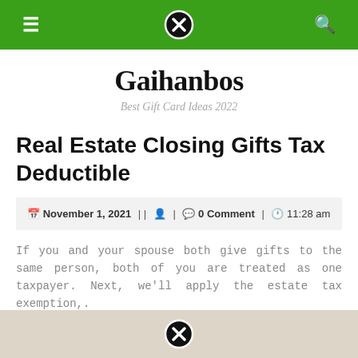Gaihanbos - navigation bar
Gaihanbos
Best Gift Card Ideas 2022
Real Estate Closing Gifts Tax Deductible
November 1, 2021 || [user icon] | [comment icon] 0 Comment | [clock icon] 11:28 am
If you and your spouse both give gifts to the same person, both of you are treated as one taxpayer. Next, we'll apply the estate tax exemption,.
[Figure (photo): Bottom image strip with a close/cancel icon overlay, beige/tan background suggesting a partially visible photo]